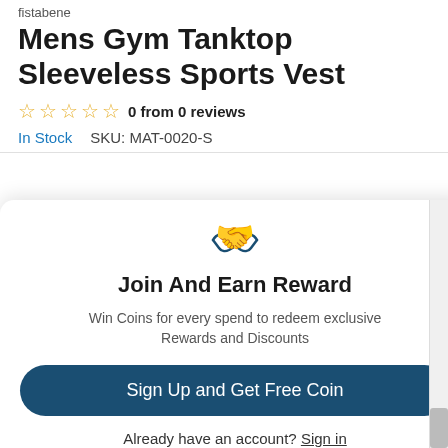fistabene
Mens Gym Tanktop Sleeveless Sports Vest
0 from 0 reviews
In Stock   SKU: MAT-0020-S
Join And Earn Reward
Win Coins for every spend to redeem exclusive Rewards and Discounts
Sign Up and Get Free Coin
Already have an account? Sign in